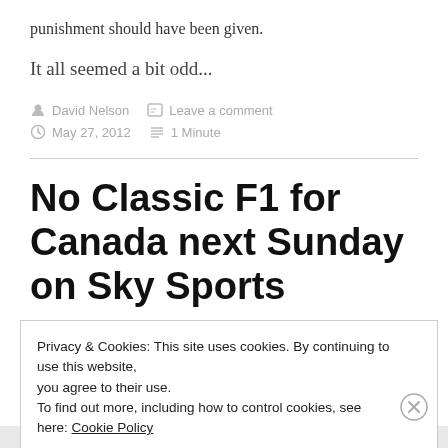punishment should have been given.
It all seemed a bit odd...
David Nelson   Leave a comment
May 27, 2012   1 Minute
No Classic F1 for Canada next Sunday on Sky Sports
Privacy & Cookies: This site uses cookies. By continuing to use this website, you agree to their use.
To find out more, including how to control cookies, see here: Cookie Policy
Close and accept